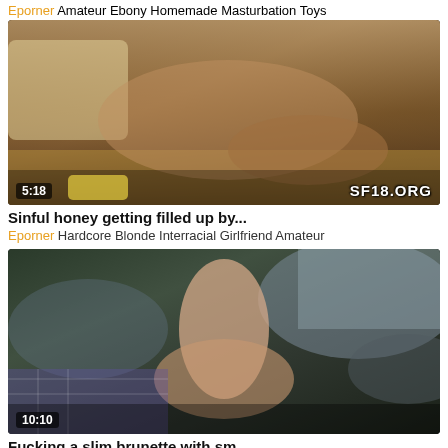Eporner Amateur Ebony Homemade Masturbation Toys
[Figure (photo): Video thumbnail showing intimate scene, duration 5:18, watermark SF18.ORG]
Sinful honey getting filled up by...
Eporner Hardcore Blonde Interracial Girlfriend Amateur
[Figure (photo): Video thumbnail showing slim brunette outdoors on rocks, duration 10:10]
Fucking a slim brunette with sm...
Eporner Amateur Blonde Brunette Hardcore Outdoor